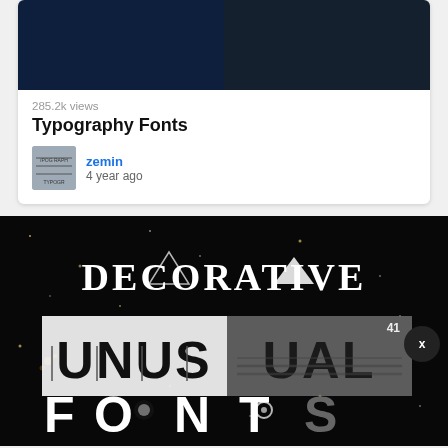[Figure (screenshot): Top card thumbnail split into two dark navy panels]
285.2k views
Typography Fonts
[Figure (thumbnail): Small typography-themed thumbnail for user zemin]
zemin
4 year ago
[Figure (screenshot): Decorative Unusual Fonts promotional image with text on dark starry background]